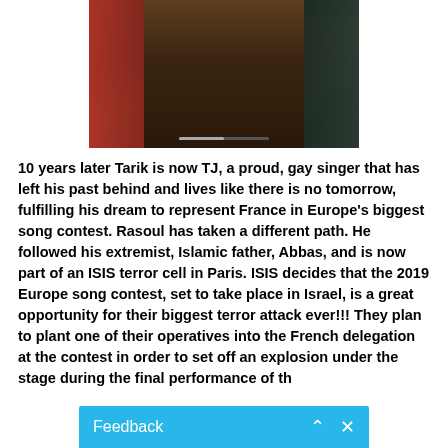[Figure (screenshot): A dark film scene showing several figures, one wearing red on the left, background characters in dark costumes, with a video progress bar at the bottom.]
10 years later Tarik is now TJ, a proud, gay singer that has left his past behind and lives like there is no tomorrow, fulfilling his dream to represent France in Europe's biggest song contest. Rasoul has taken a different path. He followed his extremist, Islamic father, Abbas, and is now part of an ISIS terror cell in Paris. ISIS decides that the 2019 Europe song contest, set to take place in Israel, is a great opportunity for their biggest terror attack ever!!! They plan to plant one of their operatives into the French delegation at the contest in order to set off an explosion under the stage during the final performance of th
Feedback